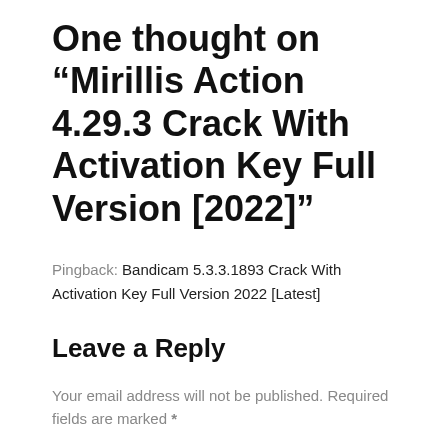One thought on “Mirillis Action 4.29.3 Crack With Activation Key Full Version [2022]”
Pingback: Bandicam 5.3.3.1893 Crack With Activation Key Full Version 2022 [Latest]
Leave a Reply
Your email address will not be published. Required fields are marked *
Comment *